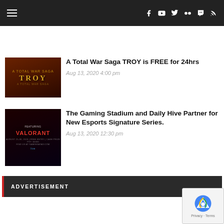Navigation bar with hamburger menu and social media icons (Facebook, YouTube, Twitter, Flickr, Twitch, RSS)
[Figure (photo): Total War Saga TROY game cover thumbnail - dark reddish brown tones]
A Total War Saga TROY is FREE for 24hrs
Aug 13, 2020 4:00 pm
[Figure (photo): Valorant game promotional image - dark background with red VALORANT text]
The Gaming Stadium and Daily Hive Partner for New Esports Signature Series.
Aug 13, 2020 12:30 pm
ADVERTISEMENT
[Figure (other): Google reCAPTCHA badge with Privacy and Terms links]